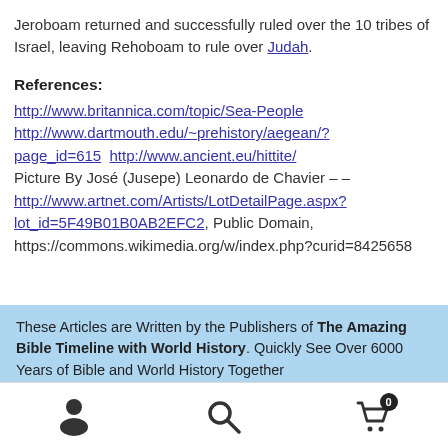Jeroboam returned and successfully ruled over the 10 tribes of Israel, leaving Rehoboam to rule over Judah.
References:
http://www.britannica.com/topic/Sea-People http://www.dartmouth.edu/~prehistory/aegean/?page_id=615  http://www.ancient.eu/hittite/ Picture By José (Jusepe) Leonardo de Chavier – – http://www.artnet.com/Artists/LotDetailPage.aspx?lot_id=5F49B01B0AB2EFC2, Public Domain, https://commons.wikimedia.org/w/index.php?curid=8425658
These Articles are Written by the Publishers of The Amazing Bible Timeline with World History. Quickly See Over 6000 Years of Bible and World History Together